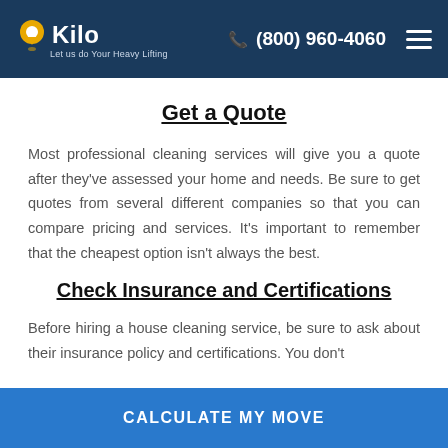Kilo — Let us do Your Heavy Lifting | (800) 960-4060
Get a Quote
Most professional cleaning services will give you a quote after they've assessed your home and needs. Be sure to get quotes from several different companies so that you can compare pricing and services. It's important to remember that the cheapest option isn't always the best.
Check Insurance and Certifications
Before hiring a house cleaning service, be sure to ask about their insurance policy and certifications. You don't
CALCULATE MY MOVE